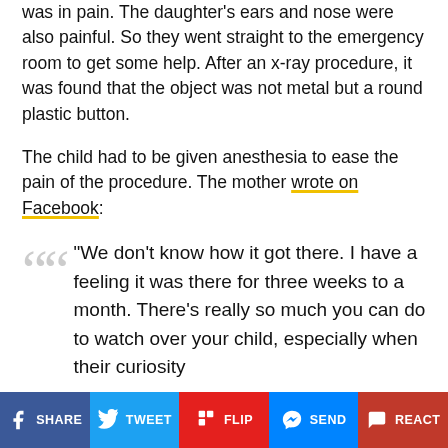The mother tried to take the object out, but the child was in pain. The daughter's ears and nose were also painful. So they went straight to the emergency room to get some help. After an x-ray procedure, it was found that the object was not metal but a round plastic button.
The child had to be given anesthesia to ease the pain of the procedure. The mother wrote on Facebook:
“We don’t know how it got there. I have a feeling it was there for three weeks to a month. There’s really so much you can do to watch over your child, especially when their curiosity
SHARE  TWEET  FLIP  SEND  REACT